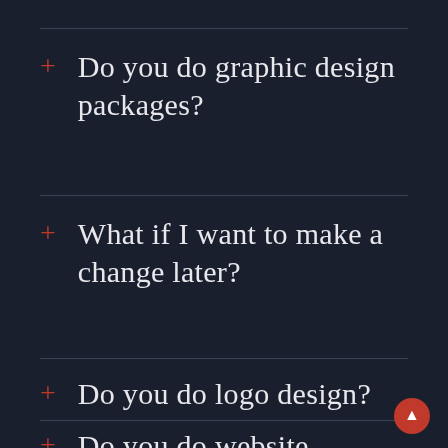Do you do graphic design packages?
What if I want to make a change later?
Do you do logo design?
Do you do website design?